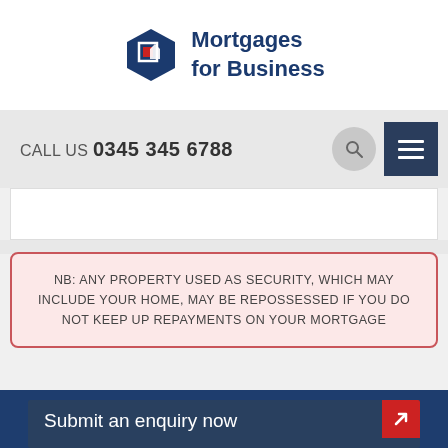[Figure (logo): Mortgages for Business logo with hexagonal icon containing red square and house symbol, dark blue text]
CALL US 03455 345 6788
NB: ANY PROPERTY USED AS SECURITY, WHICH MAY INCLUDE YOUR HOME, MAY BE REPOSSESSED IF YOU DO NOT KEEP UP REPAYMENTS ON YOUR MORTGAGE
Submit an enquiry now